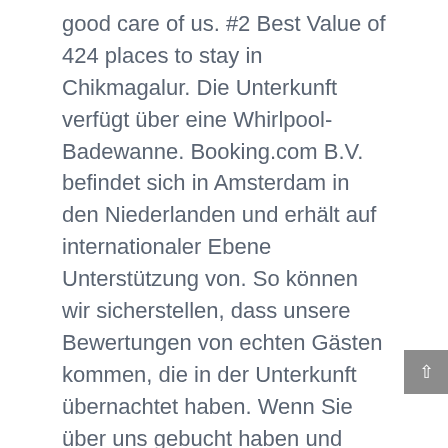good care of us. #2 Best Value of 424 places to stay in Chikmagalur. Die Unterkunft verfügt über eine Whirlpool-Badewanne. Booking.com B.V. befindet sich in Amsterdam in den Niederlanden und erhält auf internationaler Ebene Unterstützung von. So können wir sicherstellen, dass unsere Bewertungen von echten Gästen kommen, die in der Unterkunft übernachtet haben. Wenn Sie über uns gebucht haben und eine Gästebewertung hinterlegen möchten, melden Sie sich bitte in Ihrem Konto an. Einige Unterkünfte verfügen über einen Sitzbereich und/oder einen Balkon. #3 Best Value of 424 places to stay in Chikmagalur. Manager Anil and Property owner Arun were very cordial and warm. In Hotellook collection represented by 8 hotels and hotels with an average rating - 2.2 points based on 799 reviews of travelers. We'll even let you know about secret offers and sales when you sign up to our emails. The food was excellent, the property is located amidst coffee plantations and has enough ambiance to attract even the